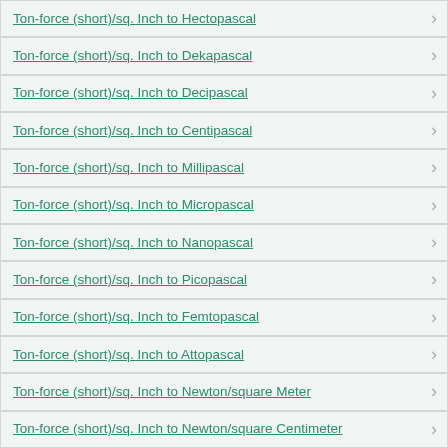Ton-force (short)/sq. Inch to Hectopascal
Ton-force (short)/sq. Inch to Dekapascal
Ton-force (short)/sq. Inch to Decipascal
Ton-force (short)/sq. Inch to Centipascal
Ton-force (short)/sq. Inch to Millipascal
Ton-force (short)/sq. Inch to Micropascal
Ton-force (short)/sq. Inch to Nanopascal
Ton-force (short)/sq. Inch to Picopascal
Ton-force (short)/sq. Inch to Femtopascal
Ton-force (short)/sq. Inch to Attopascal
Ton-force (short)/sq. Inch to Newton/square Meter
Ton-force (short)/sq. Inch to Newton/square Centimeter